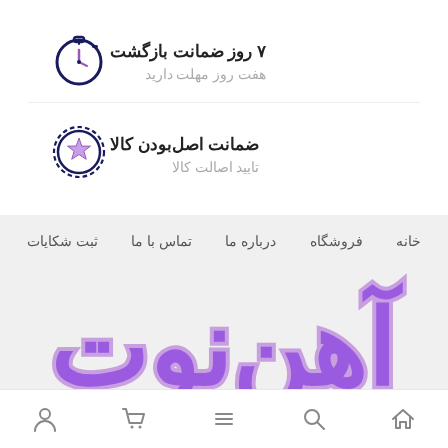[Figure (illustration): Stopwatch icon in dark navy blue outline style]
۷ روز ضمانت بازگشت
هفت روز مهلت دارید
[Figure (illustration): Badge/seal icon with a star in the center, dark navy blue outline style]
ضمانت اصل‌بودن کالا
تایید اصالت کالا
خانه   فروشگاه   درباره ما   تماس با ما   ثبت شکایات
[Figure (logo): Large purple stylized Persian/Arabic logo text in bold rounded lettering]